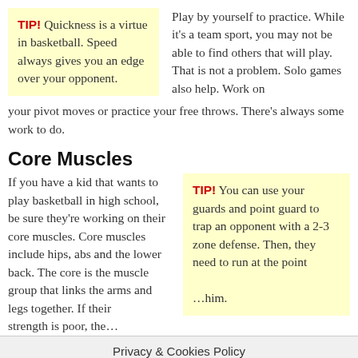TIP! Quickness is a virtue in basketball. Speed always gives you an edge over your opponent.
Play by yourself to practice. While it's a team sport, you may not be able to find others that will play. That is not a problem. Solo games also help. Work on your pivot moves or practice your free throws. There's always some work to do.
Core Muscles
If you have a kid that wants to play basketball in high school, be sure they're working on their core muscles. Core muscles include hips, abs and the lower back. The core is the muscle group that links the arms and legs together. If their strength is poor, the…
TIP! You can use your guards and point guard to trap an opponent with a 2-3 zone defense. Then, they need to run at the point …him.
Privacy & Cookies Policy